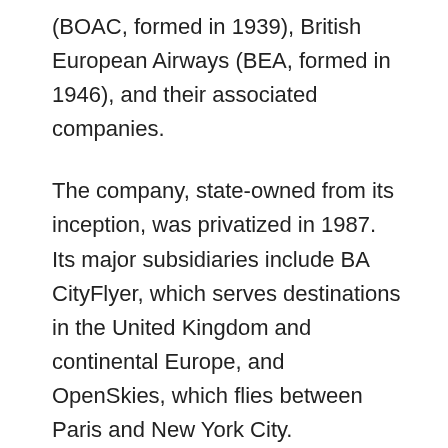(BOAC, formed in 1939), British European Airways (BEA, formed in 1946), and their associated companies.
The company, state-owned from its inception, was privatized in 1987. Its major subsidiaries include BA CityFlyer, which serves destinations in the United Kingdom and continental Europe, and OpenSkies, which flies between Paris and New York City. Headquarters are at Harmondsworth in the London borough of Hillingdon, near Heathrow Airport.